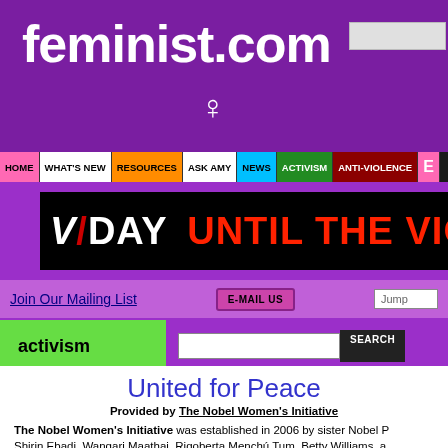feminist.com
[Figure (screenshot): feminist.com website header with purple background, venus symbol, and navigation bar including HOME, WHAT'S NEW, RESOURCES, ASK AMY, NEWS, ACTIVISM, ANTI-VIOLENCE tabs]
[Figure (other): VDay Until The Violence banner - black background with white and red text]
Join Our Mailing List | E-MAIL US | Jump
activism
United for Peace
Provided by The Nobel Women's Initiative
The Nobel Women's Initiative was established in 2006 by sister Nobel P... Shirin Ebadi, Wangari Maathai, Rigoberta Menchú Tum, Betty Williams, a... women—representing North and South America, Europe, the Middle East... their extraordinary experiences in a united effort for peace with justice an... meaningfully contribute to building peace by working together with wome... visit them online to learn more about their work: www.nobelwomensinitiati...